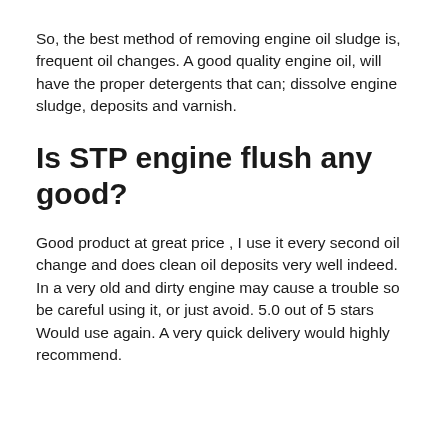So, the best method of removing engine oil sludge is, frequent oil changes. A good quality engine oil, will have the proper detergents that can; dissolve engine sludge, deposits and varnish.
Is STP engine flush any good?
Good product at great price , I use it every second oil change and does clean oil deposits very well indeed. In a very old and dirty engine may cause a trouble so be careful using it, or just avoid. 5.0 out of 5 stars Would use again. A very quick delivery would highly recommend.